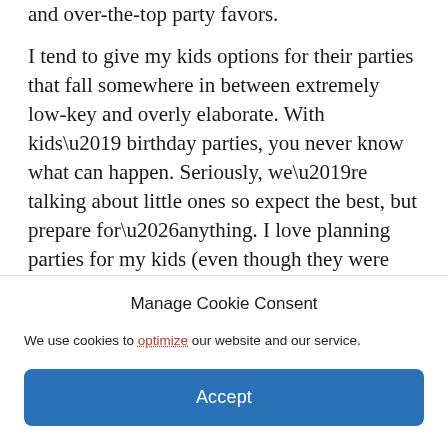and over-the-top party favors.
I tend to give my kids options for their parties that fall somewhere in between extremely low-key and overly elaborate. With kids’ birthday parties, you never know what can happen. Seriously, we’re talking about little ones so expect the best, but prepare for…anything. I love planning parties for my kids (even though they were born 8 days apart!). [Read more…]
Manage Cookie Consent
We use cookies to optimize our website and our service.
Accept